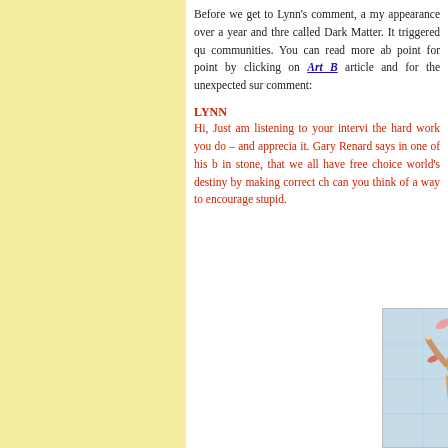Before we get to Lynn's comment, a my appearance over a year and thre called Dark Matter. It triggered qu communities. You can read more ab point for point by clicking on Art B article and for the unexpected sur comment:
LYNN
Hi, Just am listening to your intervi the hard work you do – and appreci it. Gary Renard says in one of his b in stone, that we all have free choice world's destiny by making correct ch can you think of a way to encourage stupid.
[Figure (illustration): Colorful illustration showing two figures amid tropical foliage and falling petals against a blue background]